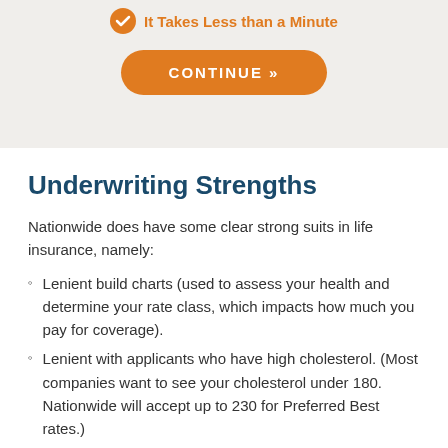It Takes Less than a Minute
[Figure (other): Orange CONTINUE button with rounded corners]
Underwriting Strengths
Nationwide does have some clear strong suits in life insurance, namely:
Lenient build charts (used to assess your health and determine your rate class, which impacts how much you pay for coverage).
Lenient with applicants who have high cholesterol. (Most companies want to see your cholesterol under 180. Nationwide will accept up to 230 for Preferred Best rates.)